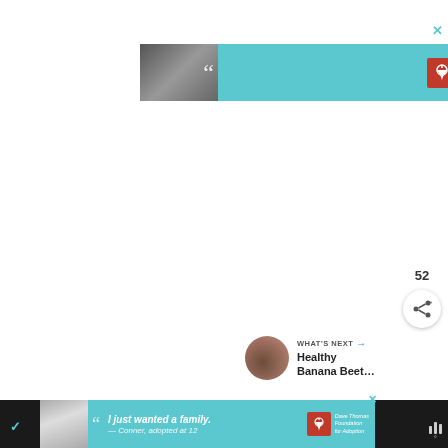[Figure (screenshot): Top advertisement banner for Dave Thomas Foundation for Adoption. Shows a young woman photo on left with quote marks, teal/cyan background, and the Dave Thomas Foundation for Adoption logo (red icon with text) on the right. Close button (X) in top-right corner.]
[Figure (screenshot): Like/heart button (blue circle with white heart icon) with count 52 below, and a share button (white circle with share icon) below that. Social interaction widget on right side of page.]
[Figure (screenshot): WHAT'S NEXT section with a circular thumbnail image and text 'Healthy Banana Beet...' preview card.]
[Figure (screenshot): Bottom advertisement banner for Dave Thomas Foundation for Adoption on a dark bar. Shows a young man photo, quote marks, text 'I just wanted a family. — Conner, adopted at 12' in italic, and Dave Thomas Foundation for Adoption logo. Close X button. Right side has weather/signal icon.]